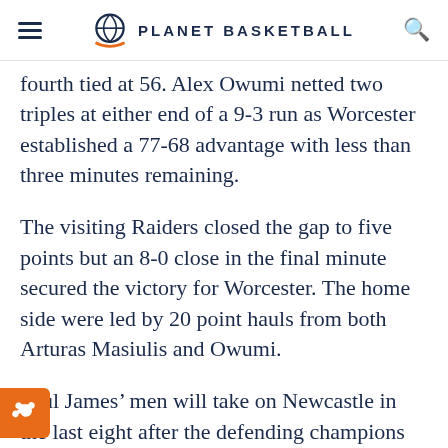PLANET BASKETBALL
fourth tied at 56. Alex Owumi netted two triples at either end of a 9-3 run as Worcester established a 77-68 advantage with less than three minutes remaining.
The visiting Raiders closed the gap to five points but an 8-0 close in the final minute secured the victory for Worcester. The home side were led by 20 point hauls from both Arturas Masiulis and Owumi.
Paul James’ men will take on Newcastle in the last eight after the defending champions enjoyed a 102-73 win on the road at Durham. The Eagles were boosted by the return of Charles Smith and raced